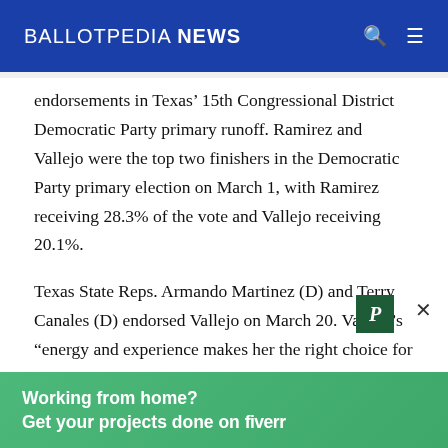BALLOTPEDIA NEWS
endorsements in Texas' 15th Congressional District Democratic Party primary runoff. Ramirez and Vallejo were the top two finishers in the Democratic Party primary election on March 1, with Ramirez receiving 28.3% of the vote and Vallejo receiving 20.1%.
Texas State Reps. Armando Martinez (D) and Terry Canales (D) endorsed Vallejo on March 20. Vallejo’s “energy and experience makes her the right choice for Congress,” Martinez said. Canales said, “I am supporting Michelle Vallejo because she has the grit and [Congressional District 15.” U.S. Rep. Lucille Roybal-
[Figure (other): Green advertisement overlay: Working from home? Get your projects done on fiverr]